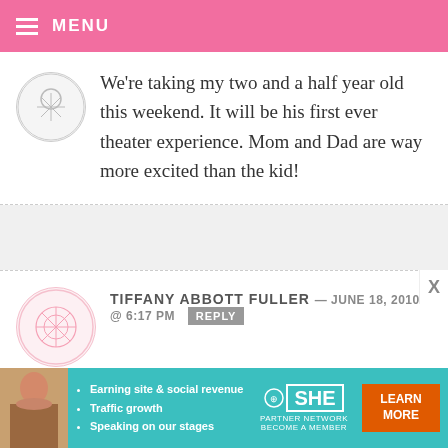MENU
We’re taking my two and a half year old this weekend. It will be his first ever theater experience. Mom and Dad are way more excited than the kid!
TIFFANY ABBOTT FULLER — JUNE 18, 2010 @ 6:17 PM REPLY
Wouldn’t have expected anything less from you. I am so impressed. My little nephew is going to LOVE these for his
[Figure (infographic): SHE Partner Network advertisement banner with photo of woman, bullet points about earning site & social revenue, traffic growth, speaking on our stages, SHE logo, and Learn More button]